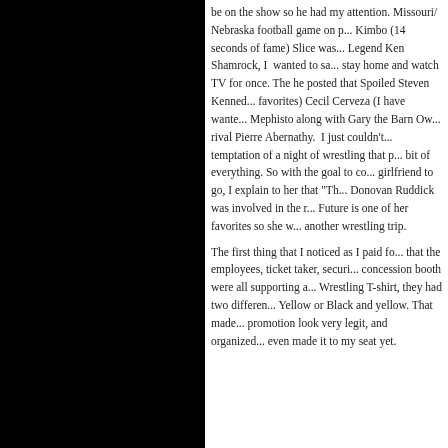be on the show so he had my attention. Missouri/ Nebraska football game on p... Kimbo (14 seconds of fame) Slice was... Legend Ken Shamrock, I wanted to stay home and watch TV for once. The he posted that Spoiled Steven Kenned... favorites) Cecil Cerveza (I have wanted... Mephisto along with Gary the Barn Ow... rival Pierre Abernathy. I just couldn't't ... temptation of a night of wrestling that p... bit of everything. So with the goal to co... girlfriend to go, I explain to her that "Th... Donovan Ruddick was involved in the ... Future is one of her favorites so she w... another wrestling trip.
The first thing that I noticed as I paid fo... that the employees, ticket taker, securi... concession booth were all supporting a... Wrestling T-shirt, they had two differen... Yellow or Black and yellow. That made... promotion look very legit, and organize... even made it to my seat yet.